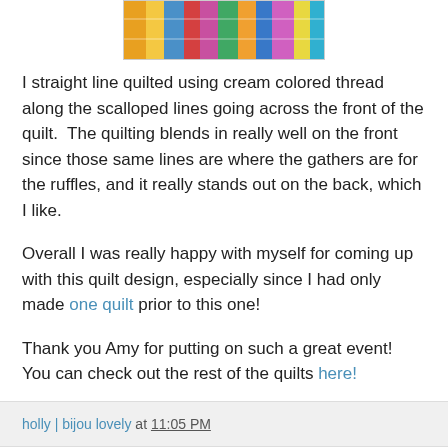[Figure (photo): Colorful quilt image showing fabric strips in orange, yellow, blue, red, pink, and teal colors]
I straight line quilted using cream colored thread along the scalloped lines going across the front of the quilt.  The quilting blends in really well on the front since those same lines are where the gathers are for the ruffles, and it really stands out on the back, which I like.
Overall I was really happy with myself for coming up with this quilt design, especially since I had only made one quilt prior to this one!
Thank you Amy for putting on such a great event!  You can check out the rest of the quilts here!
holly | bijou lovely at 11:05 PM
41 comments:
Zonnah May 21, 2010 at 11:31 PM
Very Cool!!! I love it :)